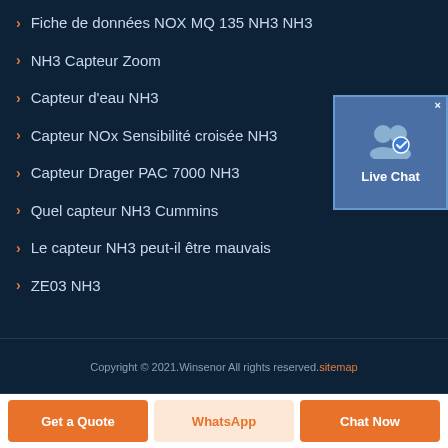Fiche de données NOX MQ 135 NH3 NH3
NH3 Capteur Zoom
Capteur d'eau NH3
Capteur NOx Sensibilité croisée NH3
Capteur Drager PAC 7000 NH3
Quel capteur NH3 Cummins
Le capteur NH3 peut-il être mauvais
ZE03 NH3
[Figure (illustration): Live Chat widget with two user icons and a checkmark badge, blue background]
Copyright © 2021.Winsenor All rights reserved. sitemap
Get a Quote
WhatsApp
Chat Now